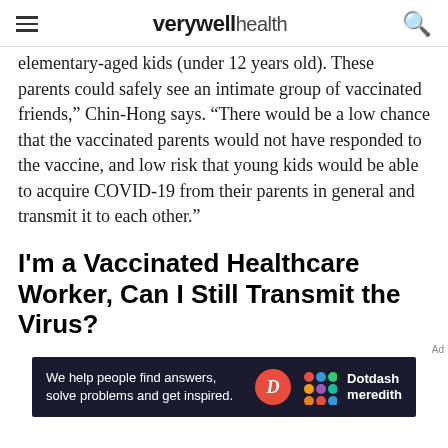verywell health
elementary-aged kids (under 12 years old). These parents could safely see an intimate group of vaccinated friends," Chin-Hong says. "There would be a low chance that the vaccinated parents would not have responded to the vaccine, and low risk that young kids would be able to acquire COVID-19 from their parents in general and transmit it to each other."
I'm a Vaccinated Healthcare Worker, Can I Still Transmit the Virus?
Ad
[Figure (other): Dotdash Meredith advertisement banner: 'We help people find answers, solve problems and get inspired.' with Dotdash Meredith logo]